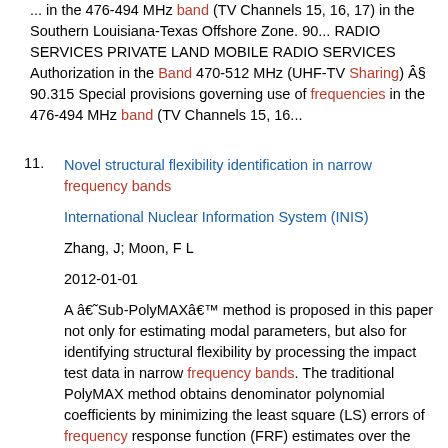... in the 476-494 MHz band (TV Channels 15, 16, 17) in the Southern Louisiana-Texas Offshore Zone. 90... RADIO SERVICES PRIVATE LAND MOBILE RADIO SERVICES Authorization in the Band 470-512 MHz (UHF-TV Sharing) § 90.315 Special provisions governing use of frequencies in the 476-494 MHz band (TV Channels 15, 16...
11. Novel structural flexibility identification in narrow frequency bands
International Nuclear Information System (INIS)
Zhang, J; Moon, F L
2012-01-01
A â€˜Sub-PolyMAXâ€™ method is proposed in this paper not only for estimating modal parameters, but also for identifying structural flexibility by processing the impact test data in narrow frequency bands. The traditional PolyMAX method obtains denominator polynomial coefficients by minimizing the least square (LS) errors of frequency response function (FRF) estimates over the whole frequency range, but FRF peaks in different structural modes may have different levels of